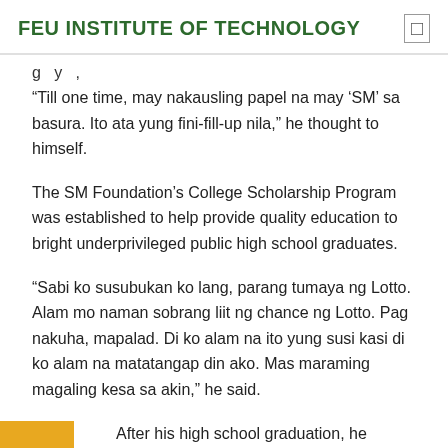FEU INSTITUTE OF TECHNOLOGY
g y ,
“Till one time, may nakausling papel na may ‘SM’ sa basura. Ito ata yung fini-fill-up nila,” he thought to himself.
The SM Foundation’s College Scholarship Program was established to help provide quality education to bright underprivileged public high school graduates.
“Sabi ko susubukan ko lang, parang tumaya ng Lotto. Alam mo naman sobrang liit ng chance ng Lotto. Pag nakuha, mapalad. Di ko alam na ito yung susi kasi di ko alam na matatangap din ako. Mas maraming magaling kesa sa akin,” he said.
After his high school graduation, he decided to return to Negros and work in a junkshop. But he soon found